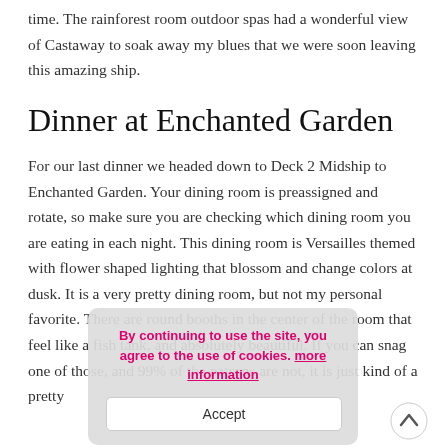time. The rainforest room outdoor spas had a wonderful view of Castaway to soak away my blues that we were soon leaving this amazing ship.
Dinner at Enchanted Garden
For our last dinner we headed down to Deck 2 Midship to Enchanted Garden. Your dining room is preassigned and rotate, so make sure you are checking which dining room you are eating in each night. This dining room is Versailles themed with flower shaped lighting that blossom and change colors at dusk. It is a very pretty dining room, but not my personal favorite. There are round booths in the center of the room that feel like a fish tank, and absolutely beautiful. If you can snag one of those, and 99% of the patrons are not, it is just kind of a pretty
By continuing to use the site, you agree to the use of cookies. more information
Accept